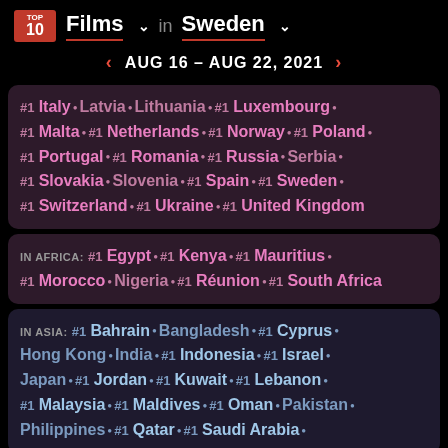TOP 10 Films in Sweden
AUG 16 - AUG 22, 2021
#1 Italy · Latvia · Lithuania · #1 Luxembourg · #1 Malta · #1 Netherlands · #1 Norway · #1 Poland · #1 Portugal · #1 Romania · #1 Russia · Serbia · #1 Slovakia · Slovenia · #1 Spain · #1 Sweden · #1 Switzerland · #1 Ukraine · #1 United Kingdom
IN AFRICA: #1 Egypt · #1 Kenya · #1 Mauritius · #1 Morocco · Nigeria · #1 Réunion · #1 South Africa
IN ASIA: #1 Bahrain · Bangladesh · #1 Cyprus · Hong Kong · India · #1 Indonesia · #1 Israel · Japan · #1 Jordan · #1 Kuwait · #1 Lebanon · #1 Malaysia · #1 Maldives · #1 Oman · Pakistan · Philippines · #1 Qatar · #1 Saudi Arabia